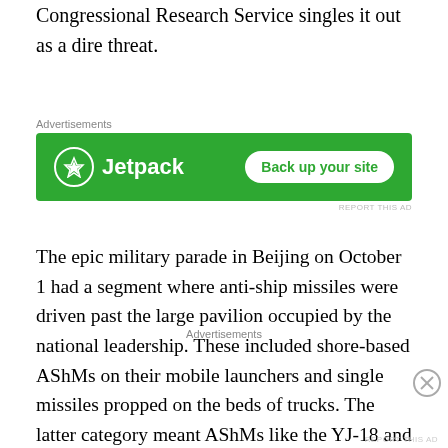Congressional Research Service singles it out as a dire threat.
[Figure (other): Jetpack advertisement banner with green background, Jetpack logo and lightning bolt icon on the left, and a white 'Back up your site' button on the right. Small 'REPORT THIS AD' text below.]
The epic military parade in Beijing on October 1 had a segment where anti-ship missiles were driven past the large pavilion occupied by the national leadership. These included shore-based AShMs on their mobile launchers and single missiles propped on the beds of trucks. The latter category meant AShMs like the YJ-18 and YJ-18A (pictured above) are intended for destroyers, frigates, and possibly submarines. In the Congressional report
Advertisements
REPORT THIS AD